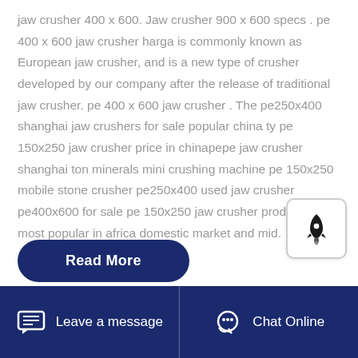jaw crusher 400 x 600. Jaw crusher 900 x 600 specs . pe 400 x 600 jaw crusher harga is commonly known as European jaw crusher, and is a new type of crusher developed by our company after the release of traditional jaw crusher. pe 400 x 600 jaw crusher . The pe250x400 shanghai jaw crushers for sale popular china ty pe 150x250 jaw crusher price in chinapepe jaw crusher shanghai ton minerals mini crushing machine pe 150x250 mobile stone crusher pe250x400 used jaw crusher pe400x600 for sale pe 150x250 jaw crusher products are most popular in africa domestic market and mid.
[Figure (other): Rocket icon widget — white rounded square with a rocket/launch icon in black]
Read More
Leave a message   Chat Online